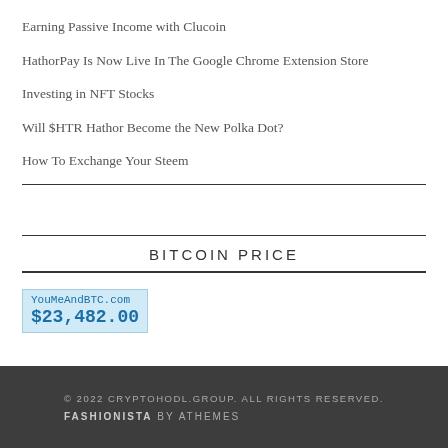Earning Passive Income with Clucoin
HathorPay Is Now Live In The Google Chrome Extension Store
Investing in NFT Stocks
Will $HTR Hathor Become the New Polka Dot?
How To Exchange Your Steem
BITCOIN PRICE
[Figure (other): Bitcoin price widget showing YouMeAndBTC.com and price $23,482.00 on a light blue background]
© 2022 CRYPTOHODL.GROUP. ALL RIGHTS RESERVED. FASHIONISTA BY ATHEMES